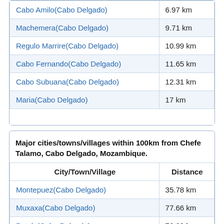| City/Town/Village | Distance |
| --- | --- |
| Cabo Amilo(Cabo Delgado) | 6.97 km |
| Machemera(Cabo Delgado) | 9.71 km |
| Regulo Marrire(Cabo Delgado) | 10.99 km |
| Cabo Fernando(Cabo Delgado) | 11.65 km |
| Cabo Subuana(Cabo Delgado) | 12.31 km |
| Maria(Cabo Delgado) | 17 km |
Major cities/towns/villages within 100km from Chefe Talamo, Cabo Delgado, Mozambique.
| City/Town/Village | Distance |
| --- | --- |
| Montepuez(Cabo Delgado) | 35.78 km |
| Muxaxa(Cabo Delgado) | 77.66 km |
| Putala(Cabo Delgado) | 76.09 km |
| Piteria(Cabo Delgado) | 64.19 km |
| Sio(Cabo Delgado) | 97.24 km |
| Maoa(Cabo Delgado) | 91.58 km |